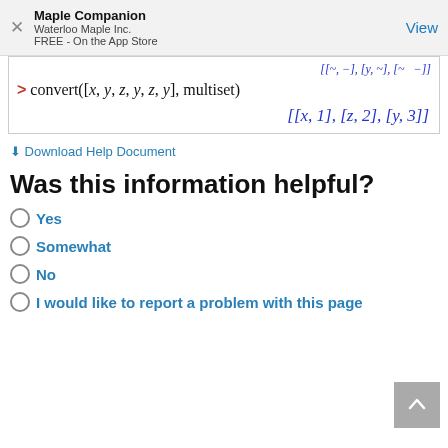Maple Companion
Waterloo Maple Inc.
FREE - On the App Store
⬇ Download Help Document
Was this information helpful?
Yes
Somewhat
No
I would like to report a problem with this page